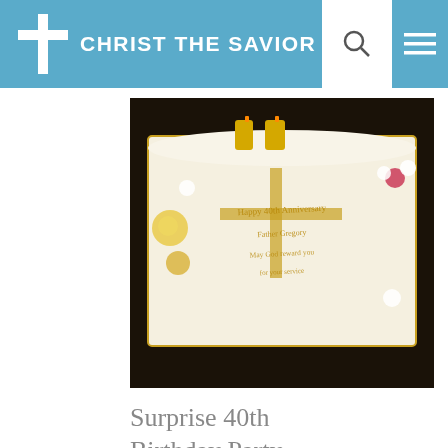CHRIST THE SAVIOR
[Figure (photo): A white frosted rectangular cake decorated with gold lettering, gold cross, and floral decorations. Gold number '40' candles on top. Text on cake appears to be a celebratory message.]
Surprise 40th Birthday Party - 03/25/18
On Sunday, March 25th, in the afternoon, following the festive services for Annunication, Mat.